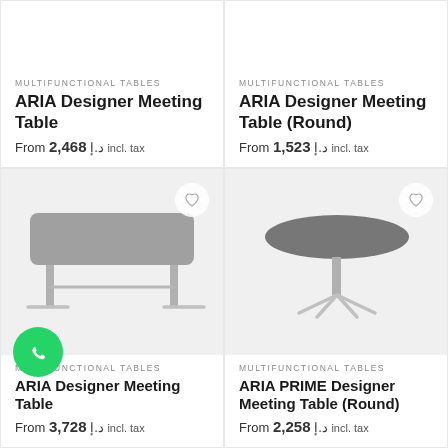MULTIFUNCTIONAL TABLES
ARIA Designer Meeting Table
From 2,468 د.إ incl. tax
MULTIFUNCTIONAL TABLES
ARIA Designer Meeting Table (Round)
From 1,523 د.إ incl. tax
[Figure (photo): ARIA Designer Meeting Table - rectangular grey table with metal legs]
[Figure (photo): ARIA Designer Meeting Table (Round) - round grey table with metal pedestal base]
MULTIFUNCTIONAL TABLES
ARIA Designer Meeting Table
From 3,728 د.إ incl. tax
MULTIFUNCTIONAL TABLES
ARIA PRIME Designer Meeting Table (Round)
From 2,258 د.إ incl. tax